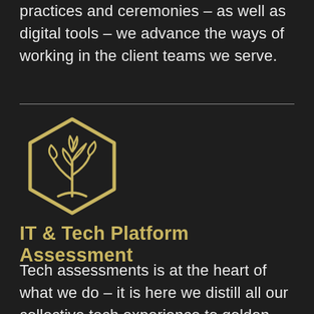practices and ceremonies – as well as digital tools – we advance the ways of working in the client teams we serve.
[Figure (illustration): Gold hexagon outline containing a plant/seedling icon with leaves, rendered in gold on dark background.]
IT & Tech Platform Assessment
Tech assessments is at the heart of what we do – it is here we distill all our collective tech experience to golden bitstreams of strategic